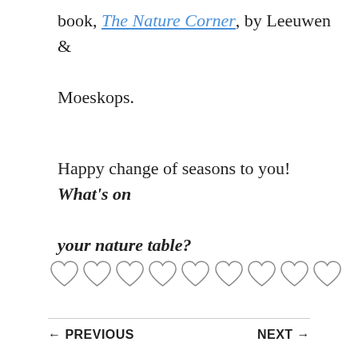book, The Nature Corner, by Leeuwen & Moeskops.
Happy change of seasons to you! What's on your nature table?
[Figure (illustration): A row of nine outline heart symbols]
← PREVIOUS    NEXT →